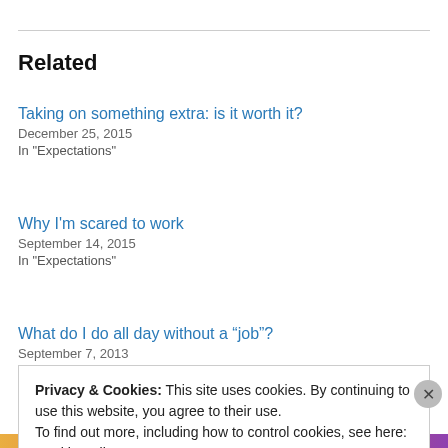Related
Taking on something extra: is it worth it?
December 25, 2015
In "Expectations"
Why I'm scared to work
September 14, 2015
In "Expectations"
What do I do all day without a “job”?
September 7, 2013
In "Educating"
Privacy & Cookies: This site uses cookies. By continuing to use this website, you agree to their use.
To find out more, including how to control cookies, see here: Cookie Policy